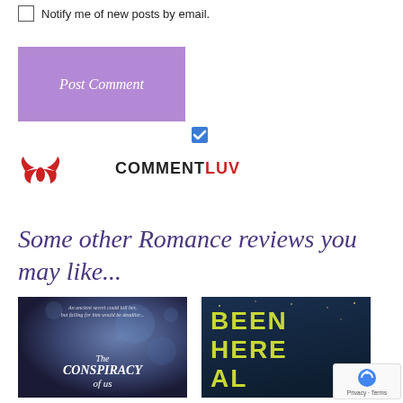Notify me of new posts by email.
[Figure (other): Purple Post Comment button]
[Figure (other): Blue checked checkbox for CommentLuv]
[Figure (logo): CommentLuv logo with red wing icon and COMMENT in dark text, LUV in red]
Some other Romance reviews you may like...
[Figure (photo): Book cover: The Conspiracy of Us]
[Figure (photo): Book cover: Been Here All Along]
[Figure (other): reCAPTCHA badge with Privacy and Terms]